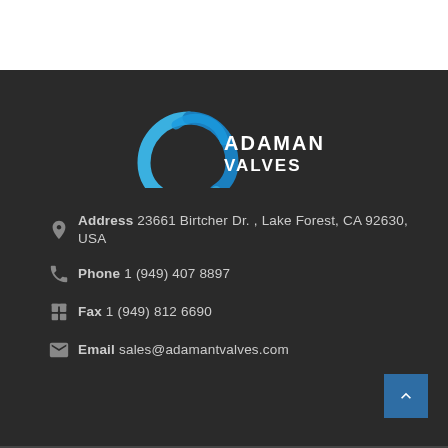[Figure (logo): Adamant Valves logo with blue circular swoosh graphic and white text reading ADAMANT VALVES on dark background]
Address  23661 Birtcher Dr. , Lake Forest, CA 92630, USA
Phone 1 (949) 407 8897
Fax 1 (949) 812 6690
Email  sales@adamantvalves.com